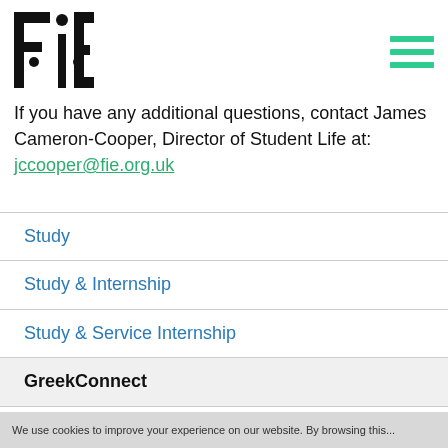FIE logo and navigation menu
If you have any additional questions, contact James Cameron-Cooper, Director of Student Life at: jccooper@fie.org.uk
Study
Study & Internship
Study & Service Internship
GreekConnect
London Faculty
FIE Kensington Campus
We use cookies to improve your experience on our website. By browsing this...